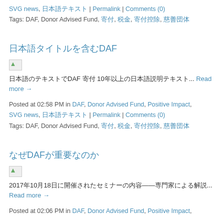SVG news, 日本語テキスト | Permalink | Comments (0)
Tags: DAF, Donor Advised Fund, 寄付, 税金, 寄付控除, 慈善団体
日本語タイトルを含むDAF
[Figure (photo): Broken/missing image placeholder]
日本語のテキストでDAF 寄付 10年以上の日本語説明テキスト... Read more →
Posted at 02:58 PM in DAF, Donor Advised Fund, Positive Impact, SVG news, 日本語テキスト | Permalink | Comments (0)
Tags: DAF, Donor Advised Fund, 寄付, 税金, 寄付控除, 慈善団体
なぜDAFが重要なのか
[Figure (photo): Broken/missing image placeholder]
2017年10月18日に開催されたセミナーの内容——専門家による解説... Read more →
Posted at 02:06 PM in DAF, Donor Advised Fund, Positive Impact,